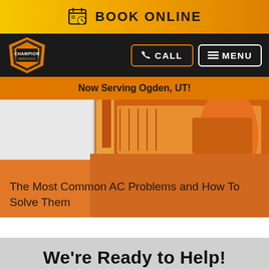BOOK ONLINE
[Figure (logo): Champion Services logo badge - shield shape with orange and dark colors, text CHAMPION SERVICES]
CALL
MENU
Now Serving Ogden, UT!
[Figure (photo): Orange-toned photo of an AC unit or HVAC equipment with a technician in orange uniform, overlaid with article title text]
The Most Common AC Problems and How To Solve Them
We’re Ready to Help!
Call Us Today!